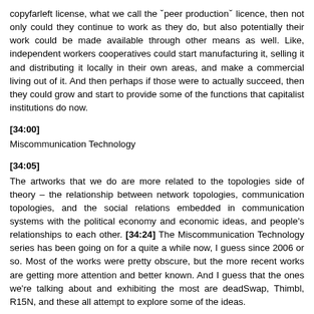copyfarleft license, what we call the "peer production" licence, then not only could they continue to work as they do, but also potentially their work could be made available through other means as well. Like, independent workers cooperatives could start manufacturing it, selling it and distributing it locally in their own areas, and make a commercial living out of it. And then perhaps if those were to actually succeed, then they could grow and start to provide some of the functions that capitalist institutions do now.
[34:00]
Miscommunication Technology
[34:05]
The artworks that we do are more related to the topologies side of theory – the relationship between network topologies, communication topologies, and the social relations embedded in communication systems with the political economy and economic ideas, and people's relationships to each other. [34:24] The Miscommunication Technology series has been going on for a quite a while now, I guess since 2006 or so. Most of the works were pretty obscure, but the more recent works are getting more attention and better known. And I guess that the ones we're talking about and exhibiting the most are deadSwap, Thimbl, R15N, and these all attempt to explore some of the ideas.
[35:01]
deadSwap
[35:06]